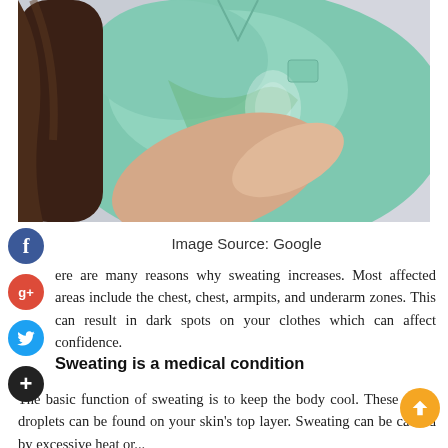[Figure (photo): A person in a light teal/mint green t-shirt showing a sweat stain in the armpit area, with their arm raised and hand pressed against their side. Long dark hair visible on the left side of the frame. Light grey background.]
Image Source: Google
There are many reasons why sweating increases. Most affected areas include the chest, chest, armpits, and underarm zones. This can result in dark spots on your clothes which can affect confidence.
Sweating is a medical condition
The basic function of sweating is to keep the body cool. These water droplets can be found on your skin's top layer. Sweating can be caused by excessive heat or...